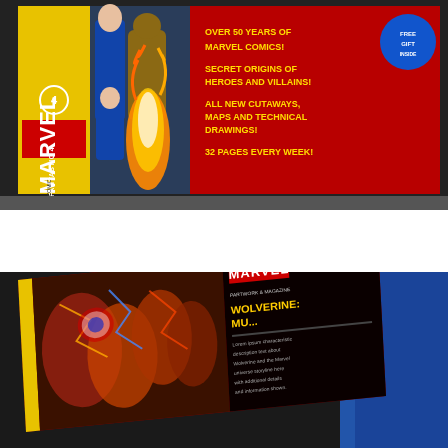[Figure (photo): Photo of Marvel Fantastic 4 comic book/magazine lying on a shelf, showing the cover with superhero characters including Human Torch with flames, and red background with yellow text listing features: 'OVER 50 YEARS OF MARVEL COMICS!', 'SECRET ORIGINS OF HEROES AND VILLAINS!', 'ALL NEW CUTAWAYS, MAPS AND TECHNICAL DRAWINGS!', '32 PAGES EVERY WEEK!'. Marvel logo visible on spine. Blue circular badge on right side.]
[Figure (photo): Photo of Marvel Wolverine comic book/magazine angled on a surface with blue cloth visible. Shows action artwork with multiple characters fighting, MARVEL logo, and 'WOLVERINE: MU...' title text visible on the right side panel.]